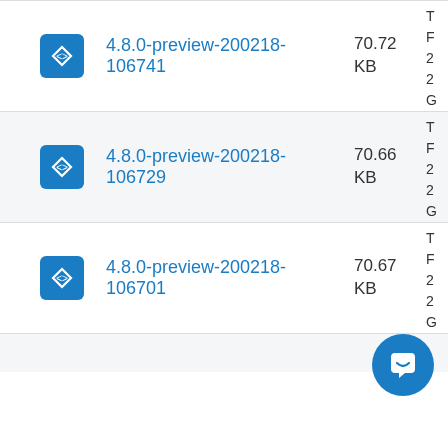4.8.0-preview-200218-106741 70.72 KB
4.8.0-preview-200218-106729 70.66 KB
4.8.0-preview-200218-106701 70.67 KB